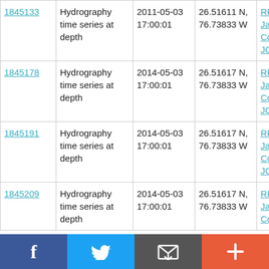| ID | Type | Date | Location | Vessel |
| --- | --- | --- | --- | --- |
| 1845133 (partial) | Hydrography time series at depth | 2011-05-03 17:00:01 | 26.51611 N, 76.73833 W | RRS James Cook JC103 |
| 1845178 | Hydrography time series at depth | 2014-05-03 17:00:01 | 26.51617 N, 76.73833 W | RRS James Cook JC103 |
| 1845191 | Hydrography time series at depth | 2014-05-03 17:00:01 | 26.51617 N, 76.73833 W | RRS James Cook JC103 |
| 1845209 | Hydrography time series at depth | 2014-05-03 17:00:01 | 26.51617 N, 76.73833 W | RRS James Cook (partial) |